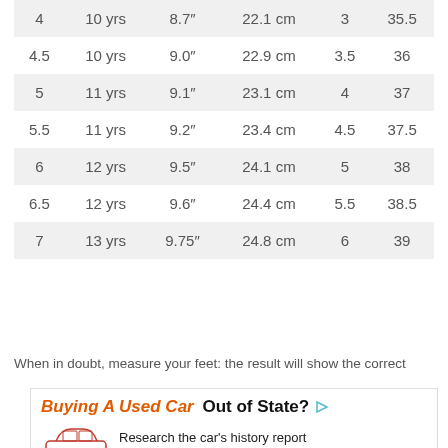| 4 | 10 yrs | 8.7" | 22.1 cm | 3 | 35.5 |
| 4.5 | 10 yrs | 9.0" | 22.9 cm | 3.5 | 36 |
| 5 | 11 yrs | 9.1" | 23.1 cm | 4 | 37 |
| 5.5 | 11 yrs | 9.2" | 23.4 cm | 4.5 | 37.5 |
| 6 | 12 yrs | 9.5" | 24.1 cm | 5 | 38 |
| 6.5 | 12 yrs | 9.6" | 24.4 cm | 5.5 | 38.5 |
| 7 | 13 yrs | 9.75" | 24.8 cm | 6 | 39 |
When in doubt, measure your feet: the result will show the correct
[Figure (other): Advertisement banner for Bumper: 'Buying A Used Car Out of State? Research the car’s history report. VIN Number / Enter VIN / SEARCH VIN. Bumper logo.']